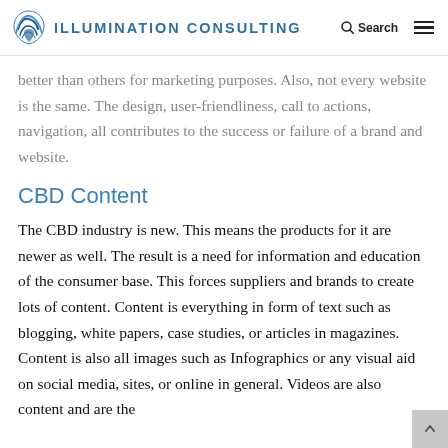Illumination Consulting
better than others for marketing purposes. Also, not every website is the same. The design, user-friendliness, call to actions, navigation, all contributes to the success or failure of a brand and website.
CBD Content
The CBD industry is new. This means the products for it are newer as well. The result is a need for information and education of the consumer base. This forces suppliers and brands to create lots of content. Content is everything in form of text such as blogging, white papers, case studies, or articles in magazines. Content is also all images such as Infographics or any visual aid on social media, sites, or online in general. Videos are also content and are the